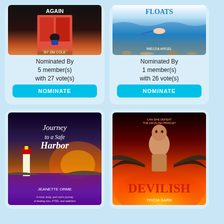[Figure (illustration): Book cover for 'Again' by Jim Cole - dark moody cover with person sitting in doorway]
Nominated By
5 member(s)
with 27 vote(s)
[Figure (illustration): NOMINATE button - cyan/teal colored button]
[Figure (illustration): Book cover for 'Floats' by Imelda Argel - underwater scene with person swimming]
Nominated By
1 member(s)
with 26 vote(s)
[Figure (illustration): NOMINATE button - cyan/teal colored button]
[Figure (illustration): Book cover for 'Journey to a Safe Harbor' by Jeanette Orme - lighthouse at sunset]
[Figure (illustration): Book cover for 'Devilish' by Tricia Barr - winged figure with flames]